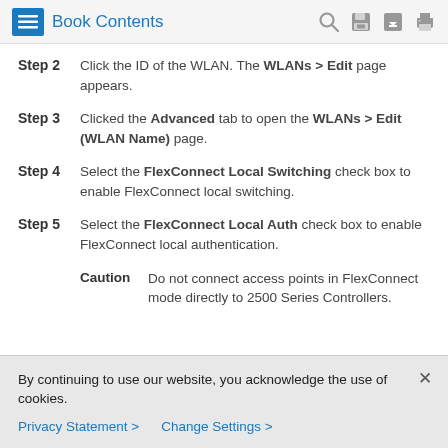Book Contents
Step 2 Click the ID of the WLAN. The WLANs > Edit page appears.
Step 3 Clicked the Advanced tab to open the WLANs > Edit (WLAN Name) page.
Step 4 Select the FlexConnect Local Switching check box to enable FlexConnect local switching.
Step 5 Select the FlexConnect Local Auth check box to enable FlexConnect local authentication.
Caution Do not connect access points in FlexConnect mode directly to 2500 Series Controllers.
By continuing to use our website, you acknowledge the use of cookies. Privacy Statement > Change Settings >